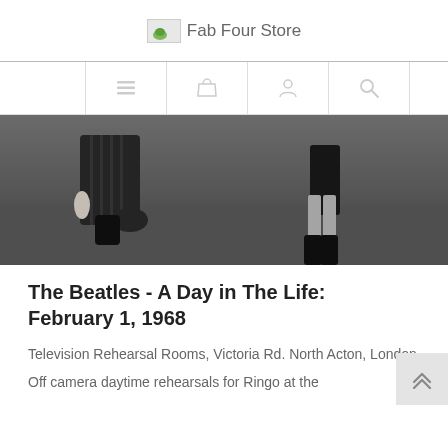Fab Four Store
[Figure (screenshot): Navigation bar with menu, basket, account, and search icons]
[Figure (photo): Black and white photo showing lower bodies of two people, one kneeling in pinstripe trousers, another standing in boots]
The Beatles - A Day in The Life: February 1, 1968
Television Rehearsal Rooms, Victoria Rd. North Acton, London
Off camera daytime rehearsals for Ringo at the